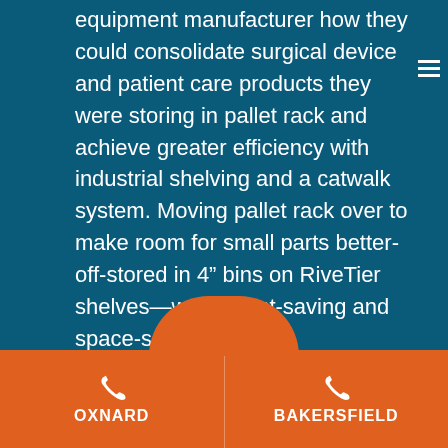equipment manufacturer how they could consolidate surgical device and patient care products they were storing in pallet rack and achieve greater efficiency with industrial shelving and a catwalk system. Moving pallet rack over to make room for small parts better-off-stored in 4" bins on RiveTier shelves—was a cost-saving and space-saving move.
OXNARD
BAKERSFIELD